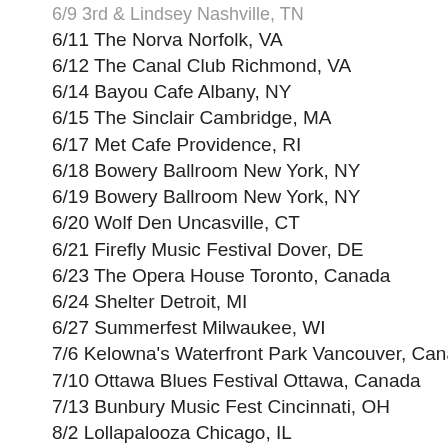6/9 3rd & Lindsey Nashville, TN
6/11 The Norva Norfolk, VA
6/12 The Canal Club Richmond, VA
6/14 Bayou Cafe Albany, NY
6/15 The Sinclair Cambridge, MA
6/17 Met Cafe Providence, RI
6/18 Bowery Ballroom New York, NY
6/19 Bowery Ballroom New York, NY
6/20 Wolf Den Uncasville, CT
6/21 Firefly Music Festival Dover, DE
6/23 The Opera House Toronto, Canada
6/24 Shelter Detroit, MI
6/27 Summerfest Milwaukee, WI
7/6 Kelowna's Waterfront Park Vancouver, Canada
7/10 Ottawa Blues Festival Ottawa, Canada
7/13 Bunbury Music Fest Cincinnati, OH
8/2 Lollapalooza Chicago, IL
8/44 Osheaga Music and Arts Festival Montreal, Canada
9/20 91X Fest San Diego, CA